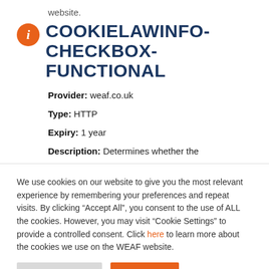website.
COOKIELAWINFO-CHECKBOX-FUNCTIONAL
Provider: weaf.co.uk
Type: HTTP
Expiry: 1 year
Description: Determines whether the
We use cookies on our website to give you the most relevant experience by remembering your preferences and repeat visits. By clicking “Accept All”, you consent to the use of ALL the cookies. However, you may visit “Cookie Settings” to provide a controlled consent. Click here to learn more about the cookies we use on the WEAF website.
Cookie Settings | Accept All